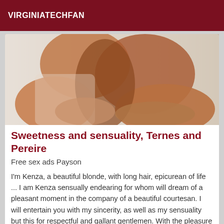VIRGINIATECHFAN
[Figure (photo): Photo of a person in beige bikini posing on a bed, cropped close-up of torso and legs]
Sweetness and sensuality, Ternes and Pereire
Free sex ads Payson
I'm Kenza, a beautiful blonde, with long hair, epicurean of life ... I am Kenza sensually endearing for whom will dream of a pleasant moment in the company of a beautiful courtesan. I will entertain you with my sincerity, as well as my sensuality but this for respectful and gallant gentlemen. With the pleasure Kenza!
[Figure (photo): Partial photo of two people, with a 'Verified' badge overlay in dark red]
Verified